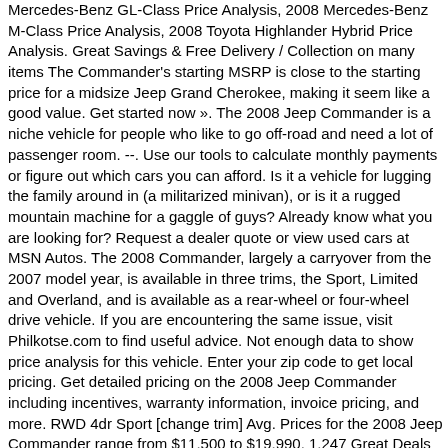Mercedes-Benz GL-Class Price Analysis, 2008 Mercedes-Benz M-Class Price Analysis, 2008 Toyota Highlander Hybrid Price Analysis. Great Savings & Free Delivery / Collection on many items The Commander's starting MSRP is close to the starting price for a midsize Jeep Grand Cherokee, making it seem like a good value. Get started now ». The 2008 Jeep Commander is a niche vehicle for people who like to go off-road and need a lot of passenger room. --. Use our tools to calculate monthly payments or figure out which cars you can afford. Is it a vehicle for lugging the family around in (a militarized minivan), or is it a rugged mountain machine for a gaggle of guys? Already know what you are looking for? Request a dealer quote or view used cars at MSN Autos. The 2008 Commander, largely a carryover from the 2007 model year, is available in three trims, the Sport, Limited and Overland, and is available as a rear-wheel or four-wheel drive vehicle. If you are encountering the same issue, visit Philkotse.com to find useful advice. Not enough data to show price analysis for this vehicle. Enter your zip code to get local pricing. Get detailed pricing on the 2008 Jeep Commander including incentives, warranty information, invoice pricing, and more. RWD 4dr Sport [change trim] Avg. Prices for the 2008 Jeep Commander range from $11,500 to $19,990. 1,247 Great Deals out of … See all versions; Compass (2 models) 2011 - 2015. Jeep Cherokee (2008 -